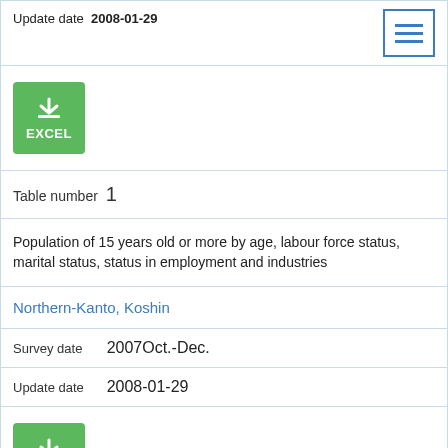Update date 2008-01-29
[Figure (other): Green EXCEL download button with download icon]
Table number 1
Population of 15 years old or more by age, labour force status, marital status, status in employment and industries
Northern-Kanto, Koshin
Survey date  2007Oct.-Dec.
Update date  2008-01-29
[Figure (other): Green EXCEL download button with download icon]
Table number 1
Population of 15 years old or more by age, labour force status, marital status, status in employment and industries